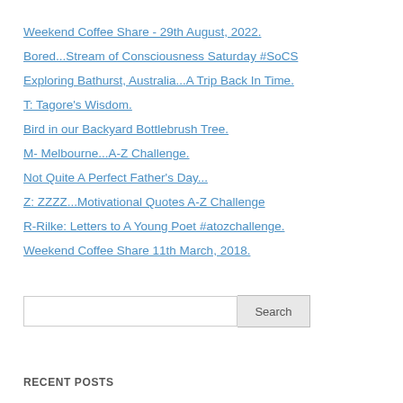Weekend Coffee Share - 29th August, 2022.
Bored...Stream of Consciousness Saturday #SoCS
Exploring Bathurst, Australia...A Trip Back In Time.
T: Tagore's Wisdom.
Bird in our Backyard Bottlebrush Tree.
M- Melbourne...A-Z Challenge.
Not Quite A Perfect Father's Day...
Z: ZZZZ...Motivational Quotes A-Z Challenge
R-Rilke: Letters to A Young Poet #atozchallenge.
Weekend Coffee Share 11th March, 2018.
Search
RECENT POSTS